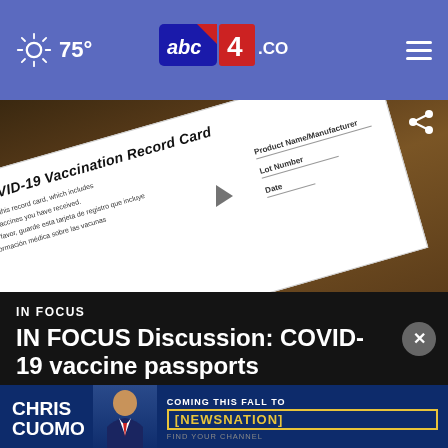75° abc4.com
[Figure (photo): COVID-19 Vaccination Record Card on a dark wooden surface, showing fields for Product Name/Manufacturer, Lot Number, Date of birth, and multilingual text about keeping the record card]
IN FOCUS
IN FOCUS Discussion: COVID-19 vaccine passports
[Figure (advertisement): Chris Cuomo advertisement: COMING THIS FALL TO NEWSNATION - FIND YOUR CHANNEL]
by: Erin Nielsen
Posted: Jun 09, 2021 / 04:46 PM MDT